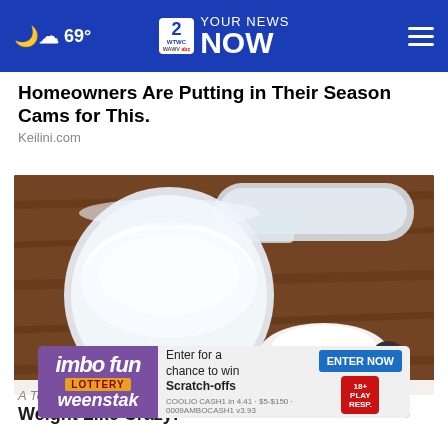69° YOUR NEWS NOW — WTWC WAWV NBC 2
Homeowners Are Putting in Their Season Cams for This.
Keilini.com
[Figure (photo): A plastic measuring scoop filled with white powder (supplement or protein powder) sitting on a wooden surface, with a small pile of white powder beside it.]
A Te... Weight Like Crazy!
[Figure (infographic): Advertisement overlay: 'imbo fun LOTTERY weenstak' on purple background with 'Enter for a chance to win Scratch-offs' and 'ENTER NOW' button on light background.]